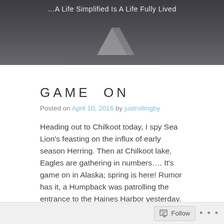…A Life Simplified Is A Life Fully Lived
GAME ON
Posted on April 10, 2016 by justrollingby
Heading out to Chilkoot today, I spy Sea Lion's feasting on the influx of early season Herring. Then at Chilkoot lake, Eagles are gathering in numbers…. It's game on in Alaska; spring is here! Rumor has it, a Humpback was patrolling the entrance to the Haines Harbor yesterday. Soon the Hooligan run will start, and then the big fish. Chinooks then the Sockeye. It's gonna be another great year, I can feel it! Here's a
Follow